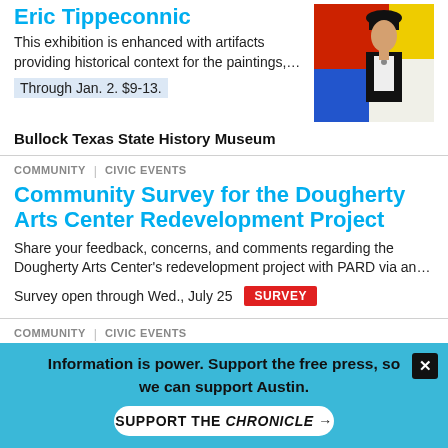Eric Tippeconnic
This exhibition is enhanced with artifacts providing historical context for the paintings,…
Through Jan. 2. $9-13.
Bullock Texas State History Museum
COMMUNITY   CIVIC EVENTS
Community Survey for the Dougherty Arts Center Redevelopment Project
Share your feedback, concerns, and comments regarding the Dougherty Arts Center's redevelopment project with PARD via an…
Survey open through Wed., July 25   SURVEY
COMMUNITY   CIVIC EVENTS
Creating Authentic Professional Relationships that Last
Information is power. Support the free press, so we can support Austin.
SUPPORT THE CHRONICLE →